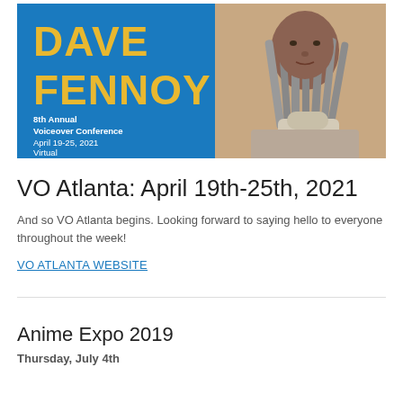[Figure (photo): Banner image for VO Atlanta 8th Annual Voiceover Conference, April 19-25, 2021, Virtual. Blue background with large yellow text 'DAVE FENNOY' and a photo of the man on the right side.]
VO Atlanta: April 19th-25th, 2021
And so VO Atlanta begins. Looking forward to saying hello to everyone throughout the week!
VO ATLANTA WEBSITE
Anime Expo 2019
Thursday, July 4th